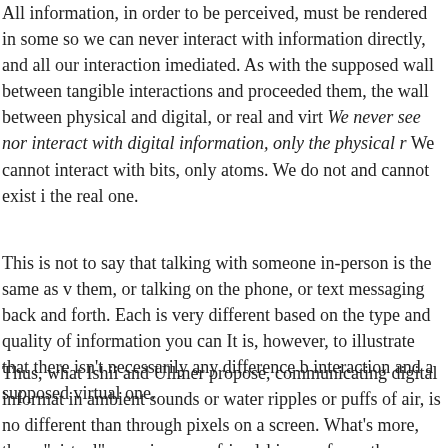All information, in order to be perceived, must be rendered in some so we can never interact with information directly, and all our interaction imediated. As with the supposed wall between tangible interactions and proceeded them, the wall between physical and digital, or real and virt We never see nor interact with digital information, only the physical r We cannot interact with bits, only atoms. We do not and cannot exist i the real one.
This is not to say that talking with someone in-person is the same as v them, or talking on the phone, or text messaging back and forth. Each is very different based on the type and quality of information you can It is, however, to illustrate that there isn't necessarily any difference b interaction and a supposed virtual one.
Thus, what Ishii and Ullmer propose, communicating digital informat in ambient sounds or water ripples or puffs of air, is no different than through pixels on a screen. What's more, these "virtual" experiences w friendships we form, the "virtual" worlds we live in, are no different t world, because they are all necessarily revealed to us in the physical w